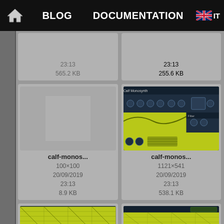BLOG  DOCUMENTATION
[Figure (screenshot): File card top-left: partially cropped, shows 23:13 / 565.2 KB]
[Figure (screenshot): File card top-right: partially cropped, shows 23:13 / 255.6 KB]
[Figure (screenshot): calf-monos... image: 100x100 placeholder thumbnail (gray)]
calf-monos...
100×100
20/09/2019
23:13
8.9 KB
[Figure (screenshot): calf-monos... image: 1121x541 showing Calf Monosynth plugin UI]
calf-monos...
1121×541
20/09/2019
23:13
538.1 KB
[Figure (screenshot): calf-multiba... image: 878x712 showing Calf Multiband plugin UI]
calf-multiba...
878×712
20/09/2019
[Figure (screenshot): calf-multiba... image: 1006x511 showing Calf Multiband Enhancer plugin UI]
calf-multiba...
1006×511
20/09/2019